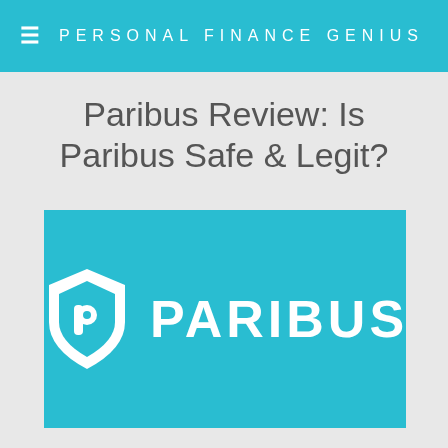PERSONAL FINANCE GENIUS
Paribus Review: Is Paribus Safe & Legit?
[Figure (logo): Paribus brand logo: white shield icon with letter p and dot on teal/cyan background, with PARIBUS wordmark in white bold text]